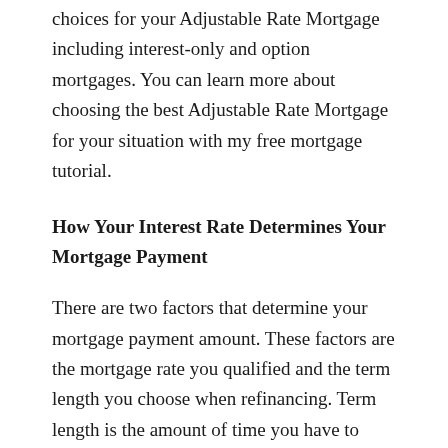choices for your Adjustable Rate Mortgage including interest-only and option mortgages. You can learn more about choosing the best Adjustable Rate Mortgage for your situation with my free mortgage tutorial.
How Your Interest Rate Determines Your Mortgage Payment
There are two factors that determine your mortgage payment amount. These factors are the mortgage rate you qualified and the term length you choose when refinancing. Term length is the amount of time you have to repay your mortgage and determines your loan's amortization schedule. The length of term you choose is inversely proportional to your payment amount. Loans with short term lengths have higher payments and those with long term lengths have lower payments. If you need the lowest possible mortgage payment there are now